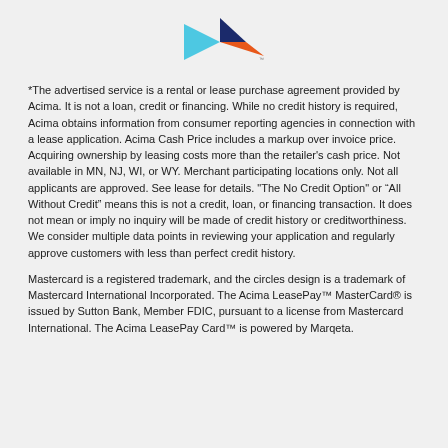[Figure (logo): Acima logo — geometric shapes: light blue left-pointing triangle, dark navy right-pointing triangle, orange right-pointing arrow/triangle, forming a stylized mark]
*The advertised service is a rental or lease purchase agreement provided by Acima. It is not a loan, credit or financing. While no credit history is required, Acima obtains information from consumer reporting agencies in connection with a lease application. Acima Cash Price includes a markup over invoice price. Acquiring ownership by leasing costs more than the retailer's cash price. Not available in MN, NJ, WI, or WY. Merchant participating locations only. Not all applicants are approved. See lease for details. "The No Credit Option" or “All Without Credit” means this is not a credit, loan, or financing transaction. It does not mean or imply no inquiry will be made of credit history or creditworthiness. We consider multiple data points in reviewing your application and regularly approve customers with less than perfect credit history.
Mastercard is a registered trademark, and the circles design is a trademark of Mastercard International Incorporated. The Acima LeasePay™ MasterCard® is issued by Sutton Bank, Member FDIC, pursuant to a license from Mastercard International. The Acima LeasePay Card™ is powered by Marqeta.